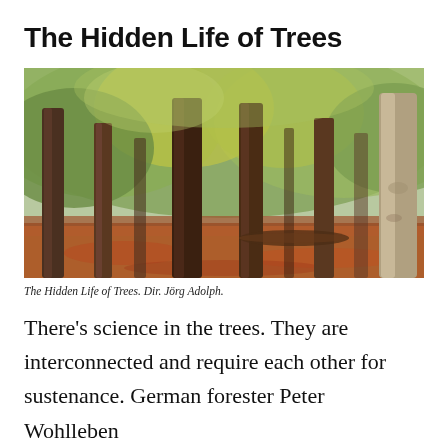The Hidden Life of Trees
[Figure (photo): Photograph of a forest with tall trees, green and yellow autumn foliage, and a forest floor covered in orange-red fallen leaves. The scene shows multiple large tree trunks with light filtering through the canopy.]
The Hidden Life of Trees. Dir. Jörg Adolph.
There's science in the trees. They are interconnected and require each other for sustenance. German forester Peter Wohlleben